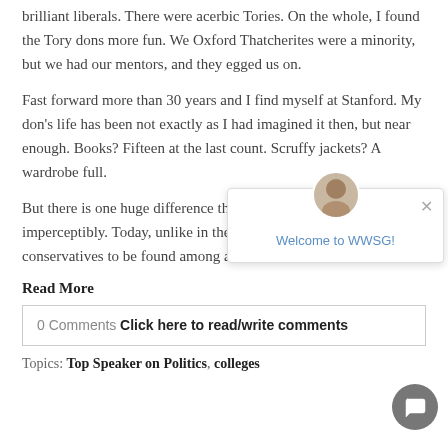brilliant liberals. There were acerbic Tories. On the whole, I found the Tory dons more fun. We Oxford Thatcherites were a minority, but we had our mentors, and they egged us on.
Fast forward more than 30 years and I find myself at Stanford. My don's life has been not exactly as I had imagined it then, but near enough. Books? Fifteen at the last count. Scruffy jackets? A wardrobe full.
But there is one huge difference that has crept up on me almost imperceptibly. Today, unlike in the 1980s, there are scarcely any conservatives to be found among academic historians.
Read More
0 Comments  Click here to read/write comments
Topics: Top Speaker on Politics, colleges